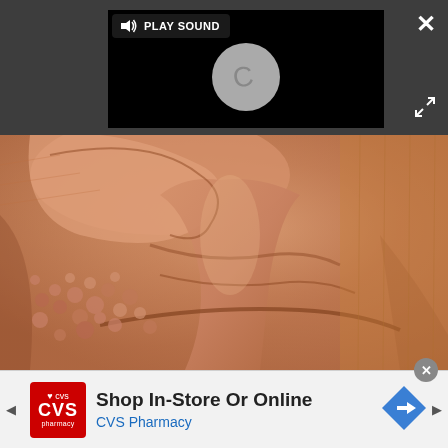[Figure (screenshot): Video player UI on dark grey background showing a black video area with a circular loading spinner and a 'PLAY SOUND' button overlay. A white X close button is in the top right corner. An expand/fullscreen icon is shown at the right side.]
[Figure (photo): Close-up medical photograph of a patient's neck and lower face area, showing skin with visible bumps or skin condition, warm skin tones, and anatomical neck structures.]
Shop In-Store Or Online
CVS Pharmacy